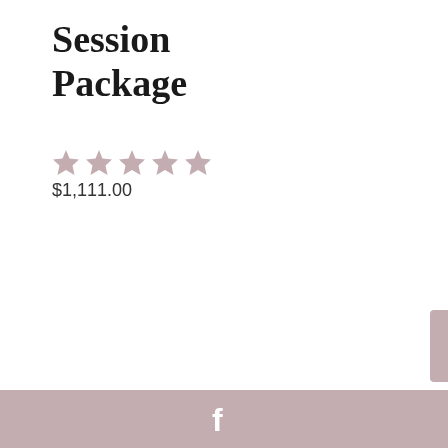Session Package
[Figure (illustration): Five star rating icons in a muted rose/pink color]
$1,111.00
Facebook icon